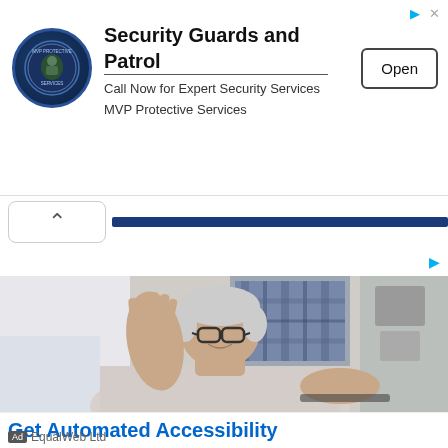[Figure (screenshot): Advertisement banner for MVP Protective Services - Security Guards and Patrol with circular logo, company name, tagline, and Open button]
[Figure (screenshot): Web browser navigation bar showing back chevron and blue address/tab bar]
[Figure (photo): Elderly man with glasses waving his right hand while sitting in front of a laptop, with a person in plaid shirt standing behind him]
Get Automated Accessibility
Ad   EqualWeb Ltd